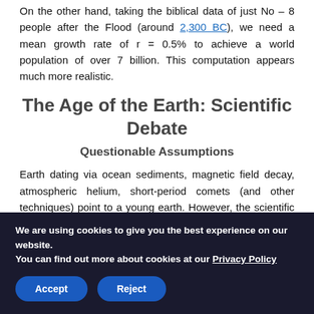On the other hand, taking the biblical data of just No – 8 people after the Flood (around 2,300 BC), we need a mean growth rate of r = 0.5% to achieve a world population of over 7 billion. This computation appears much more realistic.
The Age of the Earth: Scientific Debate
Questionable Assumptions
Earth dating via ocean sediments, magnetic field decay, atmospheric helium, short-period comets (and other techniques) point to a young earth. However, the scientific accuracy of YE claims are frequently challenged, e.g. Talk Origins. In order to balance the
We are using cookies to give you the best experience on our website.
You can find out more about cookies at our Privacy Policy
Accept  Reject